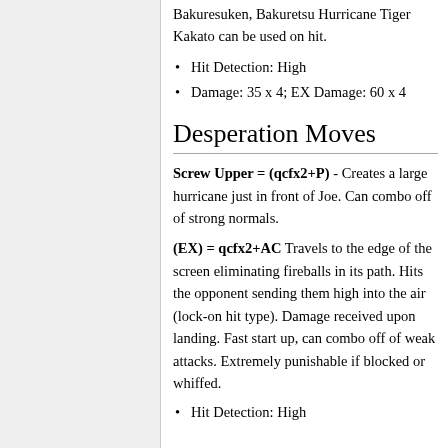Bakuresuken, Bakuretsu Hurricane Tiger Kakato can be used on hit.
Hit Detection: High
Damage: 35 x 4; EX Damage: 60 x 4
Desperation Moves
Screw Upper = (qcfx2+P) - Creates a large hurricane just in front of Joe. Can combo off of strong normals.
(EX) = qcfx2+AC Travels to the edge of the screen eliminating fireballs in its path. Hits the opponent sending them high into the air (lock-on hit type). Damage received upon landing. Fast start up, can combo off of weak attacks. Extremely punishable if blocked or whiffed.
Hit Detection: High